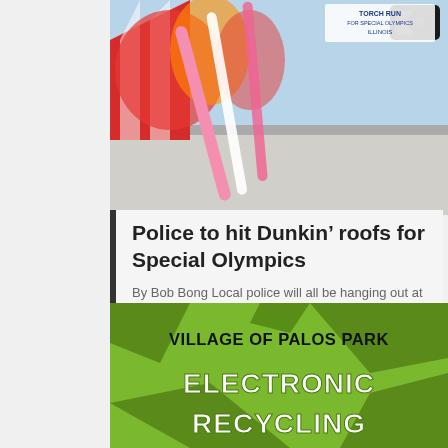[Figure (photo): Dunkin' Donuts store sign/awning with red and orange colors, with a Torch Run for Special Olympics Illinois logo in upper right corner and a camera visible at top]
Police to hit Dunkin’ roofs for Special Olympics
By Bob Bong Local police will all be hanging out at coffee shops across the south and southwest suburbs on Friday to raise money for the Illinois Special Olympics. The event, which is again being called Cop on a Rooftop after it was rebranded last year as Coffee for Champions, will take place at more…
[Figure (infographic): Village of Palos Park Electronic Recycling event graphic with green camouflage background, bold black and white text]